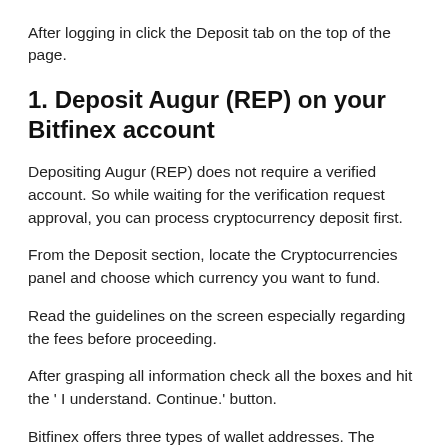After logging in click the Deposit tab on the top of the page.
1. Deposit Augur (REP) on your Bitfinex account
Depositing Augur (REP) does not require a verified account. So while waiting for the verification request approval, you can process cryptocurrency deposit first.
From the Deposit section, locate the Cryptocurrencies panel and choose which currency you want to fund.
Read the guidelines on the screen especially regarding the fees before proceeding.
After grasping all information check all the boxes and hit the ' I understand. Continue.' button.
Bitfinex offers three types of wallet addresses. The